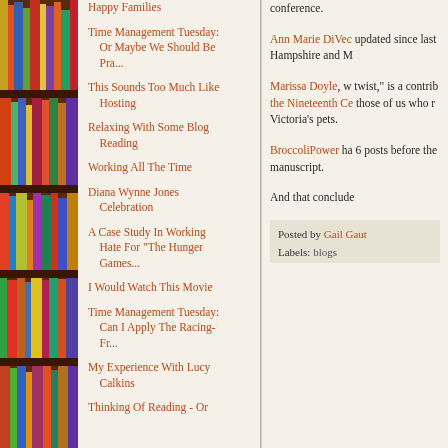[Figure (photo): Bookshelf with colorful books on the left side of the page]
Happy Families
Time Management Tuesday: Or Maybe We Should Be Pra...
This Sounds Too Much Like Hosting
Relaxing With Some Blog Reading
Working All The Time
Diana Wynne Jones Celebration
A Case Study In Working Hate For "The Hunger Games...
I Would Watch This Movie
Time Management Tuesday: Can I Apply The Racing-Fr...
My Experience With Lucy Calkins
Thinking Of Reading - Or
conference.
Ann Marie DiVec updated since last Hampshire and M
Marissa Doyle, w twist," is a contrib the Nineteenth Ce those of us who r Victoria's pets.
BroccoliPower ha 6 posts before the manuscript.
And that conclude
Posted by Gail Gaut
Labels: blogs